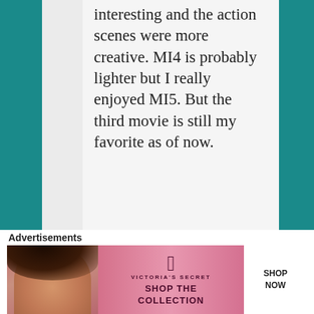interesting and the action scenes were more creative. MI4 is probably lighter but I really enjoyed MI5. But the third movie is still my favorite as of now.
★ Like
Reply ↓
mredlich21
Advertisements
[Figure (photo): Victoria's Secret advertisement banner featuring a model with curly hair, Victoria's Secret logo, 'SHOP THE COLLECTION' text, and a 'SHOP NOW' button]